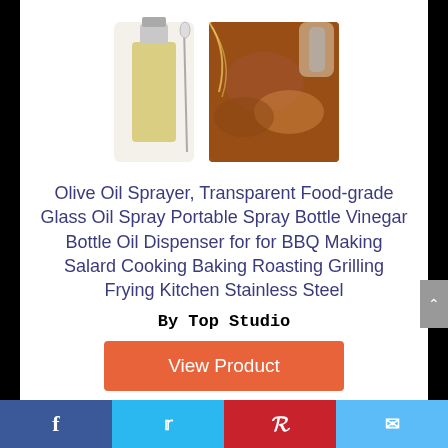[Figure (photo): Product photo of an olive oil sprayer bottle with cleaning brush and a food photo showing oil being sprayed on meat]
Olive Oil Sprayer, Transparent Food-grade Glass Oil Spray Portable Spray Bottle Vinegar Bottle Oil Dispenser for for BBQ Making Salard Cooking Baking Roasting Grilling Frying Kitchen Stainless Steel
By Top Studio
View Product
$14.99
Prime
Facebook | Twitter | Pinterest | Email